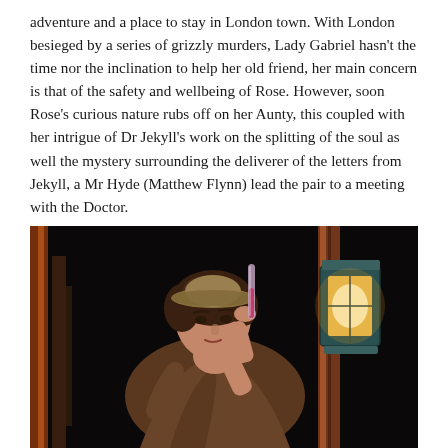adventure and a place to stay in London town. With London besieged by a series of grizzly murders, Lady Gabriel hasn't the time nor the inclination to help her old friend, her main concern is that of the safety and wellbeing of Rose. However, soon Rose's curious nature rubs off on her Aunty, this coupled with her intrigue of Dr Jekyll's work on the splitting of the soul as well the mystery surrounding the deliverer of the letters from Jekyll, a Mr Hyde (Matthew Flynn) lead the pair to a meeting with the Doctor.
[Figure (photo): A theatrical stage photo showing an actor in period costume — wearing a brown wrap/cape and a straw/felt hat — holding up a test tube with red/pink liquid, looking at it intently. To the right is a copper-toned street lamp with a glowing warm yellow lantern. The background is dark, moody, suggesting a Victorian theatrical set.]